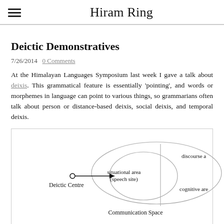Hiram Ring
Deictic Demonstratives
7/26/2014  0 Comments
At the Himalayan Languages Symposium last week I gave a talk about deixis. This grammatical feature is essentially 'pointing', and words or morphemes in language can point to various things, so grammarians often talk about person or distance-based deixis, social deixis, and temporal deixis.
[Figure (schematic): A diagram showing the Deictic Centre on the left with an arrow pointing right toward an ellipse representing Communication Space, subdivided into situational area (speech site), discourse area (partially visible, top right), and cognitive area (partially visible, bottom right). Labels: Deictic Centre, situational area (speech site), discourse a[rea], cognitive are[a], Communication Space.]
Figure 1: Deixis